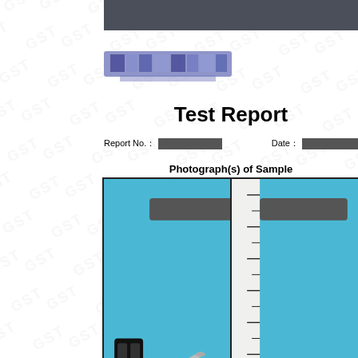[Figure (logo): GST company logo, pixelated/redacted]
Test Report
Report No.: [redacted]   Date: [redacted]
Photograph(s) of Sample
[Figure (photo): Photograph of original sample on blue surface with ruler: two small black brackets and two silver pins/screws]
Original sample